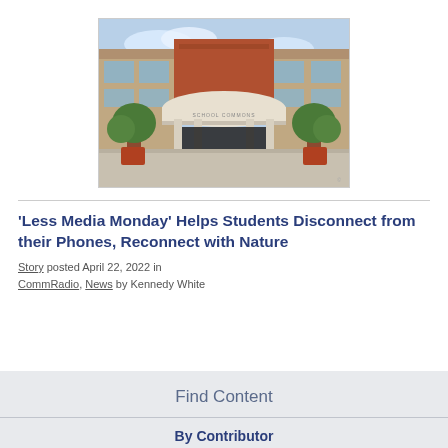[Figure (photo): Exterior of a school or community building with a curved entrance canopy, brick facade, large windows, and potted plants at the entrance]
'Less Media Monday' Helps Students Disconnect from their Phones, Reconnect with Nature
Story posted April 22, 2022 in CommRadio, News by Kennedy White
Find Content
By Contributor